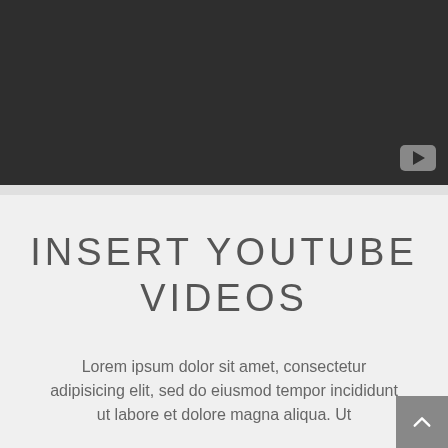[Figure (screenshot): Dark video embed area with YouTube play button icon in bottom-right corner]
INSERT YOUTUBE VIDEOS
Lorem ipsum dolor sit amet, consectetur adipisicing elit, sed do eiusmod tempor incididunt ut labore et dolore magna aliqua. Ut